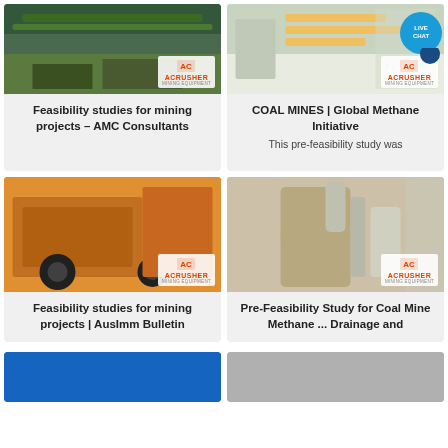[Figure (photo): Mining equipment / dredging machinery in a wet industrial facility with green overhead structure]
Feasibility studies for mining projects – AMC Consultants
[Figure (photo): White powdery mineral material on an industrial conveyor or processing platform with yellow railings; ACRUSHER logo overlay; Live Chat bubble overlay]
COAL MINES | Global Methane Initiative
This pre-feasibility study was
[Figure (photo): Yellow heavy mining screening/crushing machine with large wheels and conveyor belt structure]
Feasibility studies for mining projects | AusImm Bulletin
[Figure (photo): Industrial grinding mill / vertical roller mill equipment in a factory setting, beige/tan colored]
Pre-Feasibility Study for Coal Mine Methane ... Drainage and
[Figure (photo): Blue sky or water partial view (bottom partial card)]
[Figure (photo): Gray industrial surface partial view (bottom partial card)]